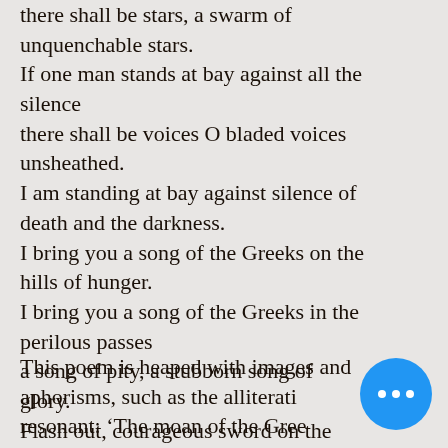there shall be stars, a swarm of unquenchable stars.
If one man stands at bay against all the silence
there shall be voices O bladed voices unsheathed.
I am standing at bay against silence of death and the darkness.
I bring you a song of the Greeks on the hills of hunger.
I bring you a song of the Greeks in the perilous passes
a song of pity, a stubborn song of glory.
Flash out, courageous sword on the crag of the day.
Cry out, voices of children, the endless pang.
This poem is heaped with images and aphorisms, such as the alliterative resonant: 'The moan of the Greek children grows round your moated homes'. Again there is a conscious…